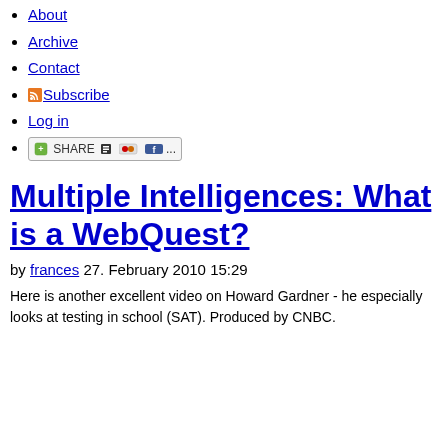About
Archive
Contact
Subscribe
Log in
SHARE
Multiple Intelligences: What is a WebQuest?
by frances 27. February 2010 15:29
Here is another excellent video on Howard Gardner - he especially looks at testing in school (SAT). Produced by CNBC.